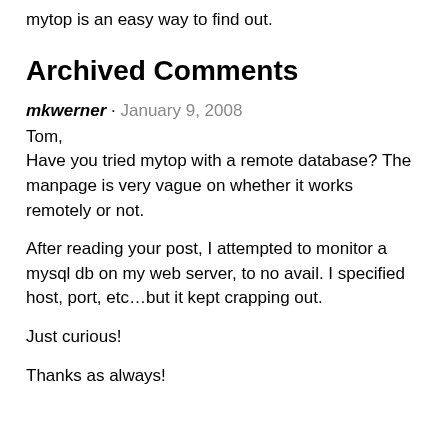need to know what your database server is doing, mytop is an easy way to find out.
Archived Comments
mkwerner · January 9, 2008
Tom,
Have you tried mytop with a remote database? The manpage is very vague on whether it works remotely or not.

After reading your post, I attempted to monitor a mysql db on my web server, to no avail. I specified host, port, etc…but it kept crapping out.

Just curious!

Thanks as always!